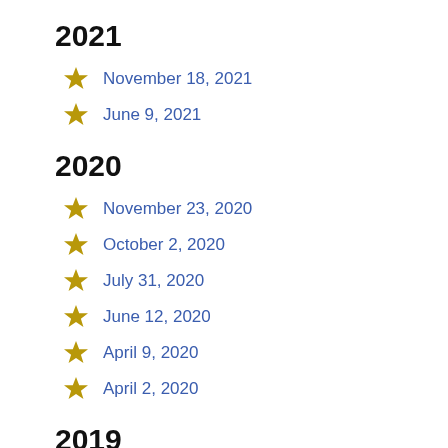2021
November 18, 2021
June 9, 2021
2020
November 23, 2020
October 2, 2020
July 31, 2020
June 12, 2020
April 9, 2020
April 2, 2020
2019